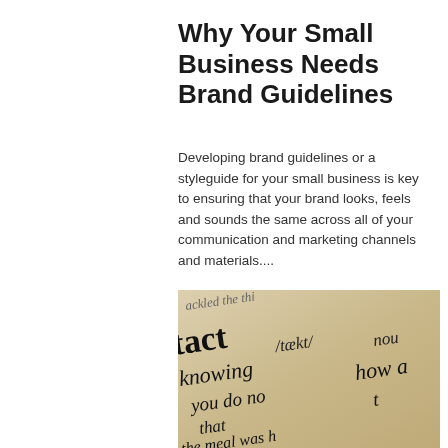Why Your Small Business Needs Brand Guidelines
Developing brand guidelines or a styleguide for your small business is key to ensuring that your brand looks, feels and sounds the same across all of your communication and marketing channels and materials....
[Figure (photo): Close-up photograph of a dictionary page showing the word 'tact' with phonetic transcription /tækt/ and the word 'noun', along with partial definition text including 'knowing how a', 'you do not', 'that you', 'the meal was h', and partial text 'ackled the thi' at the top.]